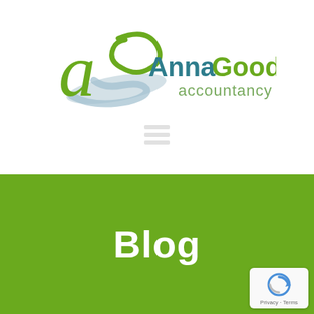[Figure (logo): Anna Goodwin Accountancy logo: green stylized cursive 'a' with teal/grey ribbon underneath, text 'AnnaGoodwin' in teal/dark and 'accountancy' in grey-green smaller font]
[Figure (other): Faded grey hamburger menu icon (three horizontal lines)]
Blog
[Figure (other): Google reCAPTCHA badge with spinning arrow logo and 'Privacy · Terms' text]